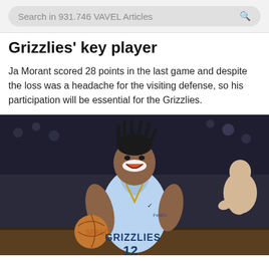Search in 931.746 VAVEL Articles
Grizzlies' key player
Ja Morant scored 28 points in the last game and despite the loss was a headache for the visiting defense, so his participation will be essential for the Grizzlies.
[Figure (photo): Ja Morant wearing Memphis Grizzlies light blue jersey number 12, smiling and holding a Spalding basketball, with a man clapping in the background.]